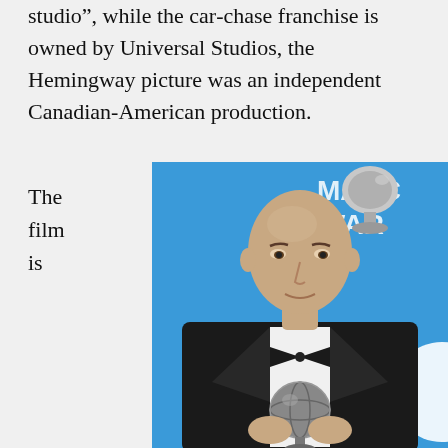studio”, while the car-chase franchise is owned by Universal Studios, the Hemingway picture was an independent Canadian-American production.
The film is
[Figure (photo): A bald man in a black tuxedo with bow tie holding a silver award trophy, standing in front of a blue backdrop with partial text reading 'MARC AWARDS'.]